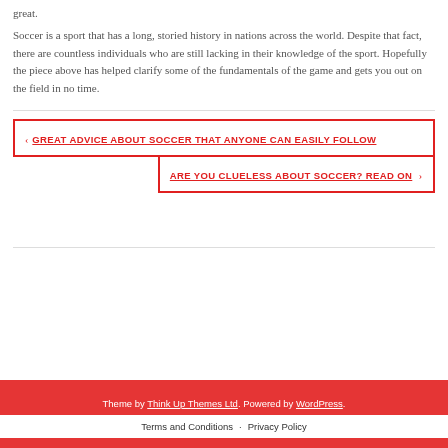great.
Soccer is a sport that has a long, storied history in nations across the world. Despite that fact, there are countless individuals who are still lacking in their knowledge of the sport. Hopefully the piece above has helped clarify some of the fundamentals of the game and gets you out on the field in no time.
< GREAT ADVICE ABOUT SOCCER THAT ANYONE CAN EASILY FOLLOW
ARE YOU CLUELESS ABOUT SOCCER? READ ON >
Theme by Think Up Themes Ltd. Powered by WordPress. Terms and Conditions · Privacy Policy